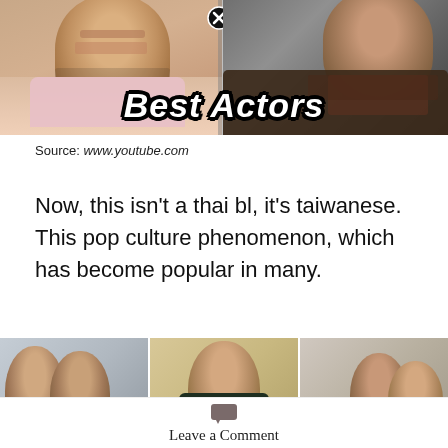[Figure (photo): Thumbnail image split showing two young Asian men, with 'Best Actors' text overlay and a close/X button in the center top. Left side shows a man in a light pink shirt appearing emotional. Right side shows a man in a dark graphic t-shirt leaning forward.]
Source: www.youtube.com
Now, this isn't a thai bl, it's taiwanese. This pop culture phenomenon, which has become popular in many.
[Figure (photo): Three thumbnail images side by side showing young Asian male actors/celebrities. Left image shows two men together on gray background. Middle image shows a single man on beige/tan background. Right image shows two men together.]
Leave a Comment